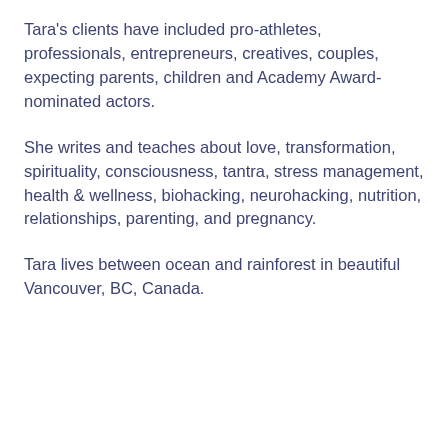Tara's clients have included pro-athletes, professionals, entrepreneurs, creatives, couples, expecting parents, children and Academy Award-nominated actors.
She writes and teaches about love, transformation, spirituality, consciousness, tantra, stress management, health & wellness, biohacking, neurohacking, nutrition, relationships, parenting, and pregnancy.
Tara lives between ocean and rainforest in beautiful Vancouver, BC, Canada.